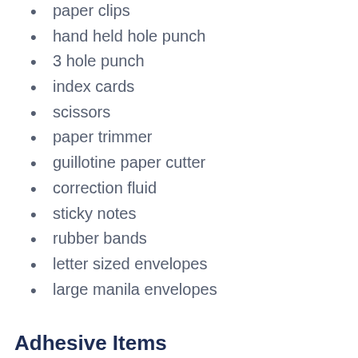paper clips
hand held hole punch
3 hole punch
index cards
scissors
paper trimmer
guillotine paper cutter
correction fluid
sticky notes
rubber bands
letter sized envelopes
large manila envelopes
Adhesive Items
tape
2-sided tape
electrical tape (for dividing white boards)